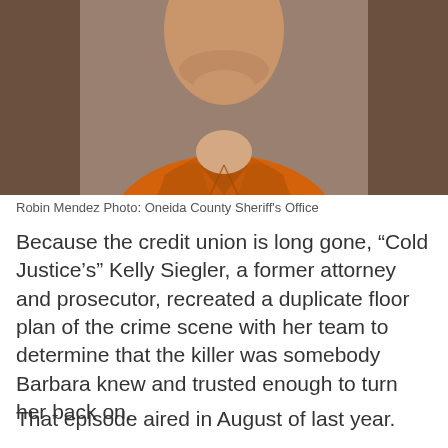[Figure (photo): Mugshot of Robin Mendez wearing an orange jumpsuit, cropped to show head and upper torso. Photo credit: Oneida County Sheriff's Office. Background shows tan/brown blurred background.]
Robin Mendez Photo: Oneida County Sheriff's Office
Because the credit union is long gone, “Cold Justice’s” Kelly Siegler, a former attorney and prosecutor, recreated a duplicate floor plan of the crime scene with her team to determine that the killer was somebody Barbara knew and trusted enough to turn her back on.
That episode aired in August of last year.